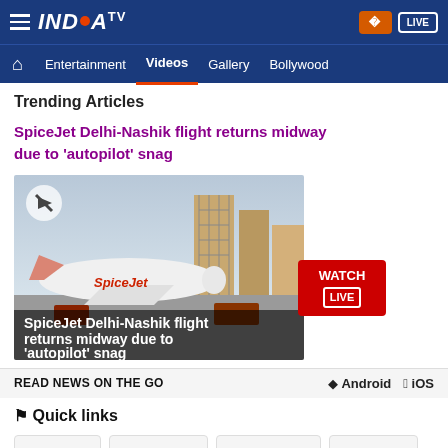[Figure (screenshot): India TV website header with logo, hamburger menu, Hindi button, and LIVE button on dark blue background]
[Figure (screenshot): Navigation bar with Home, Entertainment, Videos (active), Gallery, Bollywood menu items]
Trending Articles
SpiceJet Delhi-Nashik flight returns midway due to 'autopilot' snag
[Figure (photo): SpiceJet airplane on tarmac with caption: SpiceJet Delhi-Nashik flight returns midway due to 'autopilot' snag. WATCH LIVE badge on right side.]
READ NEWS ON THE GO    Android    iOS
Quick links
About Us
Contact Us
Mobile Zone
Advertise